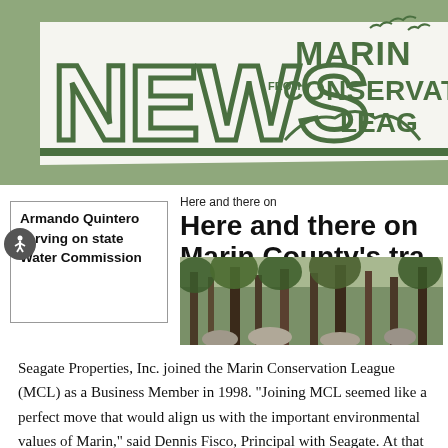[Figure (logo): News from Marin Conservation League newsletter header banner with logo text in dark green on white background with sage green surround]
Armando Quintero serving on state Water Commission
Here and there on Marin County's tra
[Figure (photo): Forest photo showing trees and rocky terrain, used as illustration for the Marin County trails article]
Seagate Properties, Inc. joined the Marin Conservation League (MCL) as a Business Member in 1998. "Joining MCL seemed like a perfect move that would align us with the important environmental values of Marin," said Dennis Fisco, Principal with Seagate. At that time,